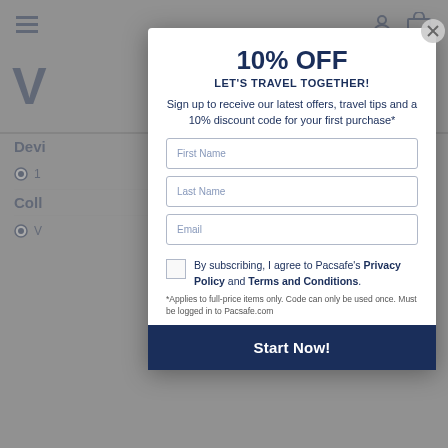[Figure (screenshot): Background e-commerce page (Pacsafe shop) partially visible behind modal overlay]
10% OFF
LET'S TRAVEL TOGETHER!
Sign up to receive our latest offers, travel tips and a 10% discount code for your first purchase*
First Name
Last Name
Email
By subscribing, I agree to Pacsafe's Privacy Policy and Terms and Conditions.
*Applies to full-price items only. Code can only be used once. Must be logged in to Pacsafe.com
Start Now!